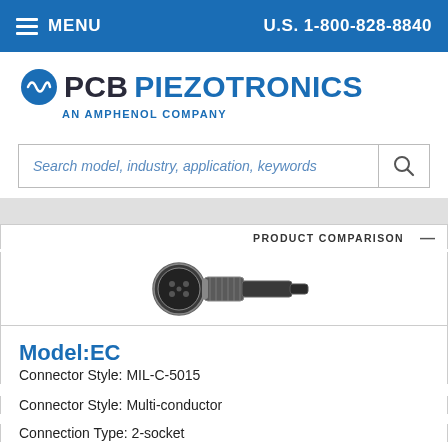MENU   U.S. 1-800-828-8840
[Figure (logo): PCB Piezotronics - An Amphenol Company logo with circular waveform icon]
Search model, industry, application, keywords
PRODUCT COMPARISON
[Figure (photo): MIL-C-5015 multi-conductor 2-socket connector product photo, showing a black circular military-style connector]
Model:EC
Connector Style: MIL-C-5015
Connector Style: Multi-conductor
Connection Type: 2-socket